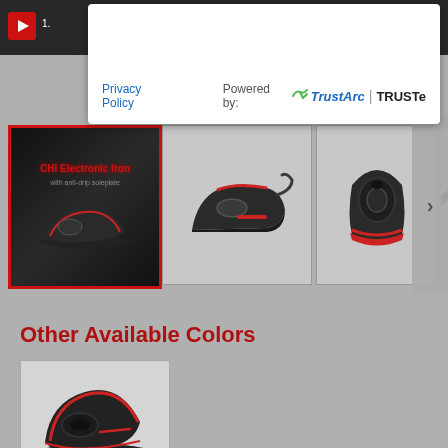[Figure (screenshot): Top dark video player bar with red play button and fullscreen icon]
[Figure (screenshot): White privacy/TrustArc popup overlay with Privacy Policy link and Powered by TrustArc | TRUSTe branding]
[Figure (photo): Product image gallery showing CHI Electronic Iron from multiple angles: first selected thumbnail with red border showing product packaging/promotional image, second thumbnail showing iron from side angle, third thumbnail showing iron from rear angle, fourth partial thumbnail. Next arrow button on right.]
Other Available Colors
[Figure (photo): CHI Electronic Iron alternative color variant shown in thumbnail with border]
CHI Electronic